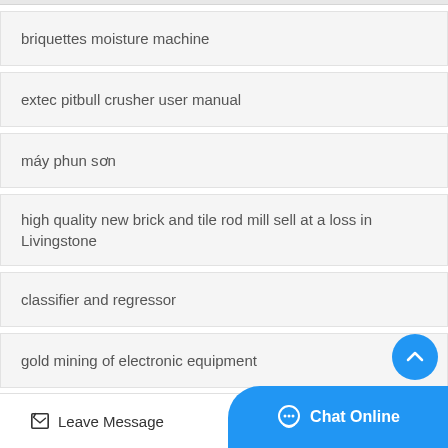briquettes moisture machine
extec pitbull crusher user manual
máy phun sơn
high quality new brick and tile rod mill sell at a loss in Livingstone
classifier and regressor
gold mining of electronic equipment
Leave Message  Chat Online